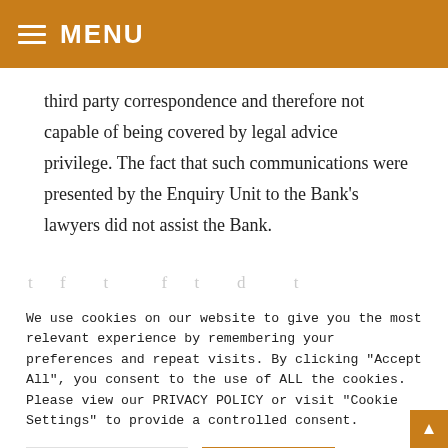MENU
third party correspondence and therefore not capable of being covered by legal advice privilege. The fact that such communications were presented by the Enquiry Unit to the Bank's lawyers did not assist the Bank.
We use cookies on our website to give you the most relevant experience by remembering your preferences and repeat visits. By clicking "Accept All", you consent to the use of ALL the cookies. Please view our PRIVACY POLICY or visit "Cookie Settings" to provide a controlled consent.